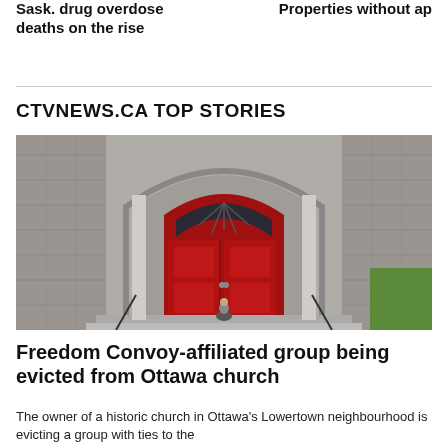Sask. drug overdose deaths on the rise
Properties without ap
CTVNEWS.CA TOP STORIES
[Figure (photo): Black and white photo of a historic stone church with a large red arched double door and a person sitting on the front steps]
Freedom Convoy-affiliated group being evicted from Ottawa church
The owner of a historic church in Ottawa's Lowertown neighbourhood is evicting a group with ties to the